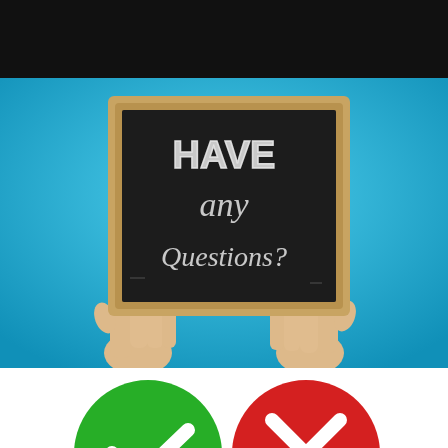[Figure (photo): Black bar at the top of the page, cropped top portion of an image]
[Figure (photo): Person holding a wooden-framed chalkboard sign against a bright blue background. The chalkboard reads 'HAVE any Questions?' in white chalk lettering.]
[Figure (illustration): Two circular icons at the bottom: a green circle with a white checkmark/tick on the left, and a red circle with a white X/cross on the right, partially visible.]